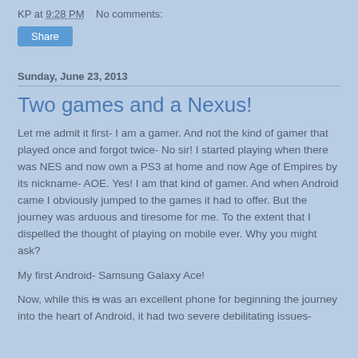KP at 9:28 PM   No comments:
Share
Sunday, June 23, 2013
Two games and a Nexus!
Let me admit it first- I am a gamer. And not the kind of gamer that played once and forgot twice- No sir! I started playing when there was NES and now own a PS3 at home and now Age of Empires by its nickname- AOE. Yes! I am that kind of gamer. And when Android came I obviously jumped to the games it had to offer. But the journey was arduous and tiresome for me. To the extent that I dispelled the thought of playing on mobile ever. Why you might ask?
My first Android- Samsung Galaxy Ace!
Now, while this is was an excellent phone for beginning the journey into the heart of Android, it had two severe debilitating issues-